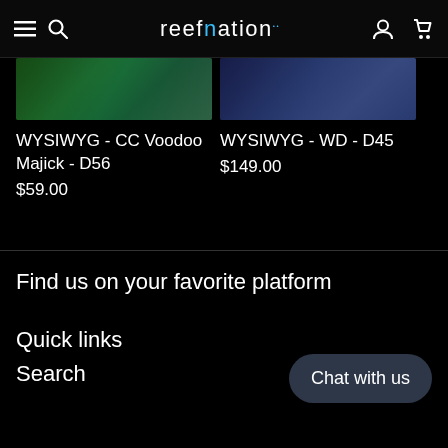reefnation — navigation bar with hamburger menu, search, account, and cart icons
[Figure (photo): Partial product image (top portion) of WYSIWYG CC Voodoo Majick coral/fish, green blue tones]
[Figure (photo): Partial product image (top portion) of WYSIWYG WD D45 coral/fish, dark blue tones]
WYSIWYG - CC Voodoo Majick - D56
$59.00
WYSIWYG - WD - D45
$149.00
Find us on your favorite platform
Quick links
Search
Chat with us